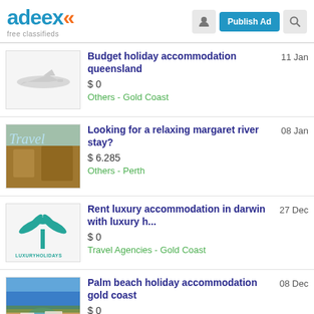adeex« free classifieds
Budget holiday accommodation queensland | $0 | Others - Gold Coast | 11 Jan
Looking for a relaxing margaret river stay? | $6.285 | Others - Perth | 08 Jan
Rent luxury accommodation in darwin with luxury h... | $0 | Travel Agencies - Gold Coast | 27 Dec
Palm beach holiday accommodation gold coast | $0 | Others - Gold Coast | 08 Dec